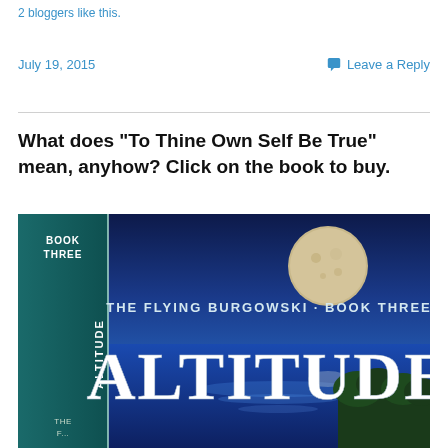2 bloggers like this.
July 19, 2015
Leave a Reply
What does “To Thine Own Self Be True” mean, anyhow? Click on the book to buy.
[Figure (photo): Book cover for 'Altitude' - The Flying Burgowski Book Three, showing a large moon over a blue lake with forested shoreline. Left spine reads 'BOOK THREE' and 'ALTITUDE'. Cover title text reads 'THE FLYING BURGOWSKI · BOOK THREE' above large white letters 'ALTITUDE'.]